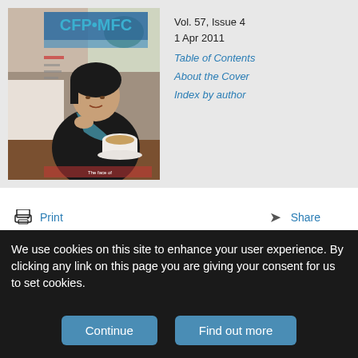[Figure (photo): Magazine cover of CFP MFC journal showing a woman sitting at a cafe table with a cup of coffee, wearing a black top and teal scarf. The magazine header reads CFP MFC in large blue letters.]
Vol. 57, Issue 4
1 Apr 2011
Table of Contents
About the Cover
Index by author
Print
Download PDF
Article Alerts
Email Article
Share
Tweet
We use cookies on this site to enhance your user experience. By clicking any link on this page you are giving your consent for us to set cookies.
Continue
Find out more